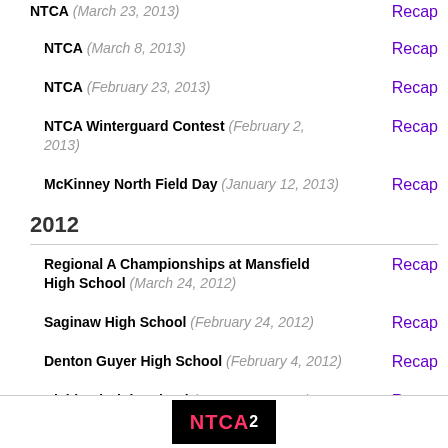NTCA (March 23, 2013) Recap
NTCA (March 8, 2013) Recap
NTCA (February 23, 2013) Recap
NTCA Winterguard Contest (February 2, 2013) Recap
McKinney North Field Day (January 12, 2013) Recap
2012
Regional A Championships at Mansfield High School (March 24, 2012) Recap
Saginaw High School (February 24, 2012) Recap
Denton Guyer High School (February 4, 2012) Recap
Richland High School (January 28, 2012) Recap
[Figure (logo): NTCA logo on black background]